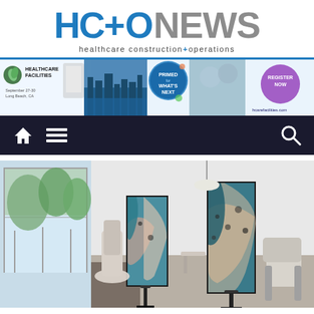HC+O NEWS - healthcare construction+operations
[Figure (photo): HC+O News logo with 'HC+O' in blue and 'NEWS' in gray, subtitle 'healthcare construction+operations']
[Figure (photo): Advertisement banner for Healthcare Facilities conference, September 27-30, Long Beach CA - PRIMED FOR WHAT'S NEXT - Register Now - hcarefacilities.com]
[Figure (photo): Navigation bar with home icon, menu icon, and search icon on dark background]
[Figure (photo): Healthcare interior photo showing a modern waiting or exam area with privacy panels featuring abstract blue/teal artwork, chairs, and large windows with greenery outside]